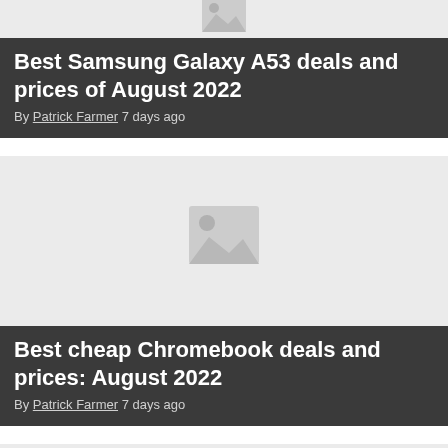[Figure (photo): Placeholder image (light grey with image icon) for Samsung Galaxy A53 article]
Best Samsung Galaxy A53 deals and prices of August 2022
By Patrick Farmer 7 days ago
[Figure (photo): Placeholder image (light grey with image icon) for Chromebook deals article]
Best cheap Chromebook deals and prices: August 2022
By Patrick Farmer 7 days ago